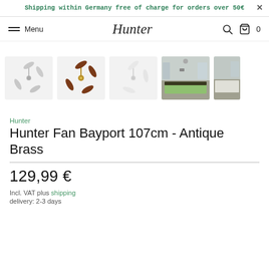Shipping within Germany free of charge for orders over 50€
[Figure (screenshot): Navigation bar with hamburger menu, Hunter logo in script font, search icon, bag icon with 0]
[Figure (photo): Five product thumbnail images showing ceiling fans: silver fan, antique brass fan with dark wood blades, white fan, bedroom lifestyle photo, another lifestyle photo]
Hunter
Hunter Fan Bayport 107cm - Antique Brass
129,99 €
Incl. VAT plus shipping
delivery: 2-3 days